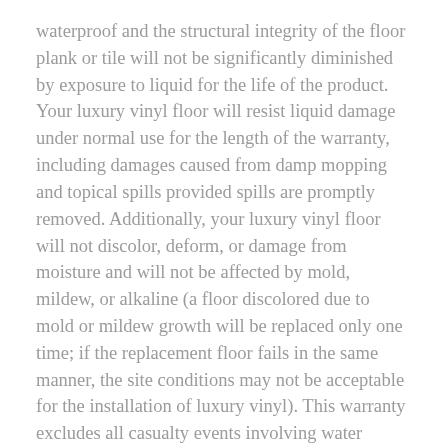waterproof and the structural integrity of the floor plank or tile will not be significantly diminished by exposure to liquid for the life of the product. Your luxury vinyl floor will resist liquid damage under normal use for the length of the warranty, including damages caused from damp mopping and topical spills provided spills are promptly removed. Additionally, your luxury vinyl floor will not discolor, deform, or damage from moisture and will not be affected by mold, mildew, or alkaline (a floor discolored due to mold or mildew growth will be replaced only one time; if the replacement floor fails in the same manner, the site conditions may not be acceptable for the installation of luxury vinyl). This warranty excludes all casualty events involving water coming in contact with your floor and failures normally covered by homeowners insurance (such as water from fires) including, but not limited to, damages caused by flooding or standing water from leaky pipes, faucets, or household appliances. This limited warranty does not apply to damage caused by water or moisture in the subfloor or underneath the flooring.